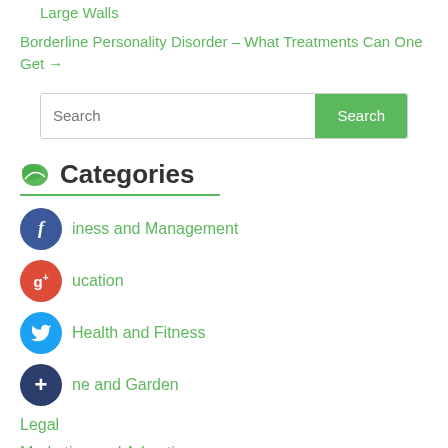Large Walls
Borderline Personality Disorder – What Treatments Can One Get →
[Figure (screenshot): Search bar with text input field and green Search button]
Categories
Business and Management
Education
General
Health and Fitness
Home and Garden
Legal
Marketing and Advertising